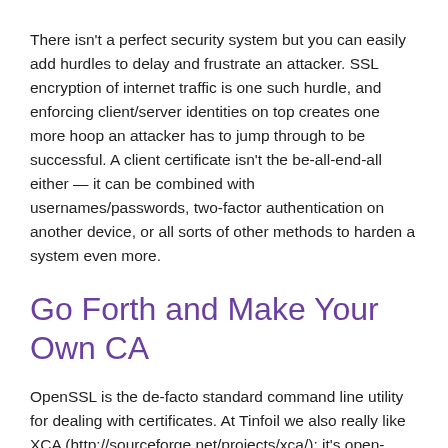There isn't a perfect security system but you can easily add hurdles to delay and frustrate an attacker. SSL encryption of internet traffic is one such hurdle, and enforcing client/server identities on top creates one more hoop an attacker has to jump through to be successful. A client certificate isn't the be-all-end-all either — it can be combined with usernames/passwords, two-factor authentication on another device, or all sorts of other methods to harden a system even more.
Go Forth and Make Your Own CA
OpenSSL is the de-facto standard command line utility for dealing with certificates. At Tinfoil we also really like XCA (http://sourceforge.net/projects/xca/); it's open-source and provides a (mostly) usable UI over the somewhat arcane